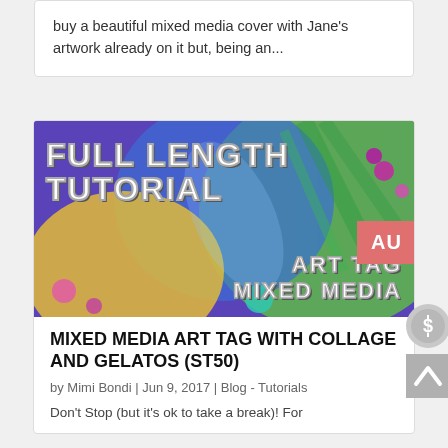buy a beautiful mixed media cover with Jane's artwork already on it but, being an...
[Figure (illustration): Full Length Tutorial Art Tag Mixed Media promotional image with colorful abstract butterfly and floral artwork background, white outlined bold text overlay]
MIXED MEDIA ART TAG WITH COLLAGE AND GELATOS (ST50)
by Mimi Bondi | Jun 9, 2017 | Blog - Tutorials
Don't Stop (but it's ok to take a break)! For